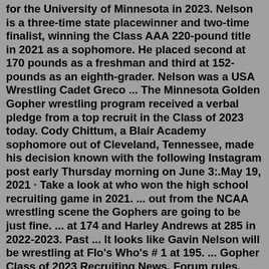for the University of Minnesota in 2023. Nelson is a three-time state placewinner and two-time finalist, winning the Class AAA 220-pound title in 2021 as a sophomore. He placed second at 170 pounds as a freshman and third at 152-pounds as an eighth-grader. Nelson was a USA Wrestling Cadet Greco ... The Minnesota Golden Gopher wrestling program received a verbal pledge from a top recruit in the Class of 2023 today. Cody Chittum, a Blair Academy sophomore out of Cleveland, Tennessee, made his decision known with the following Instagram post early Thursday morning on June 3:.May 19, 2021 · Take a look at who won the high school recruiting game in 2021. ... out from the NCAA wrestling scene the Gophers are going to be just fine. ... at 174 and Harley Andrews at 285 in 2022-2023. Past ... It looks like Gavin Nelson will be wrestling at Flo's Who's # 1 at 195. ... Gopher Class of 2023 Recruiting News. Forum rules. Share. Share with: Link: Copy link. 12 ... Minnesota Wrestling . @ GopherWrestling . · Jun 10. FULL INTERVIEW IS LIVE! Tune in as #